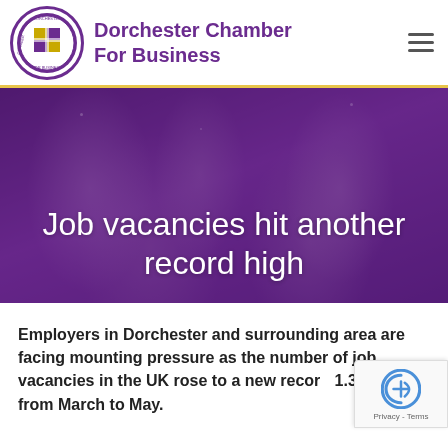[Figure (logo): Dorchester Chamber For Business circular logo with coat of arms]
Dorchester Chamber For Business
[Figure (photo): Purple-tinted banner photo of people at a business event with overlay text 'Job vacancies hit another record high']
Job vacancies hit another record high
Employers in Dorchester and surrounding area are facing mounting pressure as the number of job vacancies in the UK rose to a new record 1.3 million from March to May.